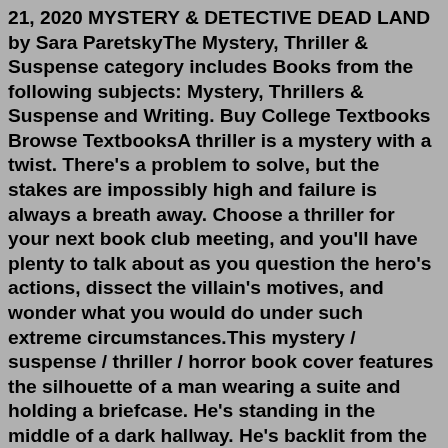21, 2020 MYSTERY & DETECTIVE DEAD LAND by Sara ParetskyThe Mystery, Thriller & Suspense category includes Books from the following subjects: Mystery, Thrillers & Suspense and Writing. Buy College Textbooks Browse TextbooksA thriller is a mystery with a twist. There's a problem to solve, but the stakes are impossibly high and failure is always a breath away. Choose a thriller for your next book club meeting, and you'll have plenty to talk about as you question the hero's actions, dissect the villain's motives, and wonder what you would do under such extreme circumstances.This mystery / suspense / thriller / horror book cover features the silhouette of a man wearing a suite and holding a briefcase. He's standing in the middle of a dark hallway. He's backlit from the light coming from the room behind him. The cover is tinted blue. Select options.In The Death of Night 2.0 "In The Death of Night 2.0" by Matthew Reed This Espionage Techno-Thriller tells the bloody tale of a retired C.I.A. Case Officer who manipulates ...